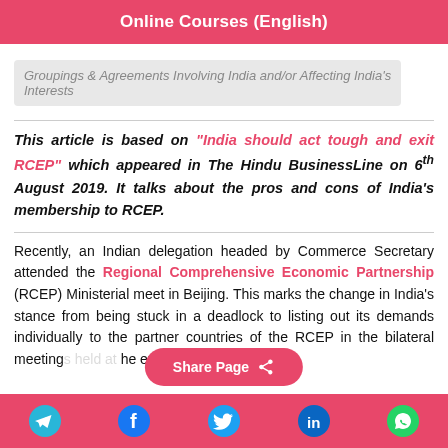Online Courses (English)
Groupings & Agreements Involving India and/or Affecting India's Interests
This article is based on "India should act tough and exit RCEP" which appeared in The Hindu BusinessLine on 6th August 2019. It talks about the pros and cons of India's membership to RCEP.
Recently, an Indian delegation headed by Commerce Secretary attended the Regional Comprehensive Economic Partnership (RCEP) Ministerial meet in Beijing. This marks the change in India's stance from being stuck in a deadlock to listing out its demands individually to the partner countries of the RCEP in the bilateral meetings held at the event.
Share Page | Social icons: Telegram, Facebook, Twitter, LinkedIn, WhatsApp